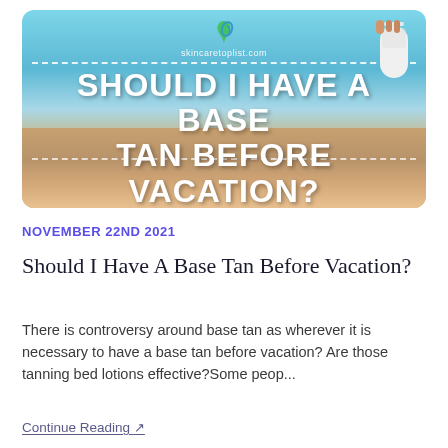[Figure (photo): Blog post header image showing tanned legs on a beach with dashed white border lines and bold white text overlay reading 'SHOULD I HAVE A BASE TAN BEFORE VACATION?' on a sky blue and sandy background. Logo 'skincaretoplist.com' at top center with a leaf/drop icon.]
NOVEMBER 22ND 2021
Should I Have A Base Tan Before Vacation?
There is controversy around base tan as wherever it is necessary to have a base tan before vacation? Are those tanning bed lotions effective?Some peop...
Continue Reading ↗